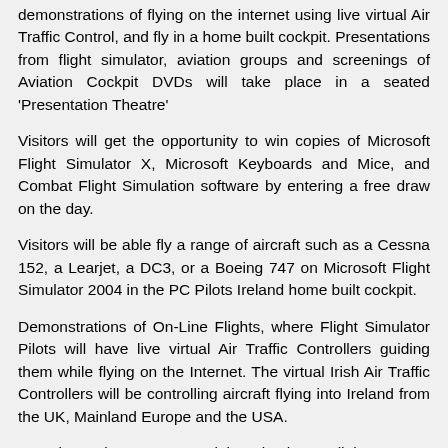demonstrations of flying on the internet using live virtual Air Traffic Control, and fly in a home built cockpit. Presentations from flight simulator, aviation groups and screenings of Aviation Cockpit DVDs will take place in a seated 'Presentation Theatre'
Visitors will get the opportunity to win copies of Microsoft Flight Simulator X, Microsoft Keyboards and Mice, and Combat Flight Simulation software by entering a free draw on the day.
Visitors will be able fly a range of aircraft such as a Cessna 152, a Learjet, a DC3, or a Boeing 747 on Microsoft Flight Simulator 2004 in the PC Pilots Ireland home built cockpit.
Demonstrations of On-Line Flights, where Flight Simulator Pilots will have live virtual Air Traffic Controllers guiding them while flying on the Internet. The virtual Irish Air Traffic Controllers will be controlling aircraft flying into Ireland from the UK, Mainland Europe and the USA.
Experience the FRASCA Training Simulator. A light